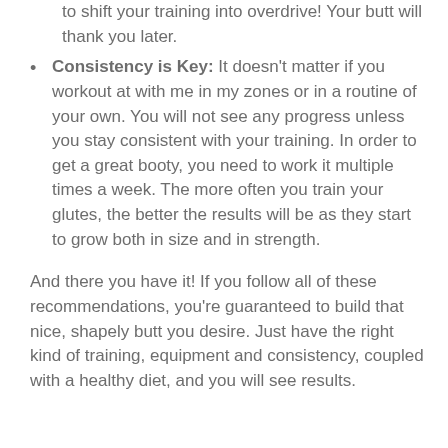to shift your training into overdrive! Your butt will thank you later.
Consistency is Key: It doesn't matter if you workout at with me in my zones or in a routine of your own. You will not see any progress unless you stay consistent with your training. In order to get a great booty, you need to work it multiple times a week. The more often you train your glutes, the better the results will be as they start to grow both in size and in strength.
And there you have it! If you follow all of these recommendations, you're guaranteed to build that nice, shapely butt you desire. Just have the right kind of training, equipment and consistency, coupled with a healthy diet, and you will see results.